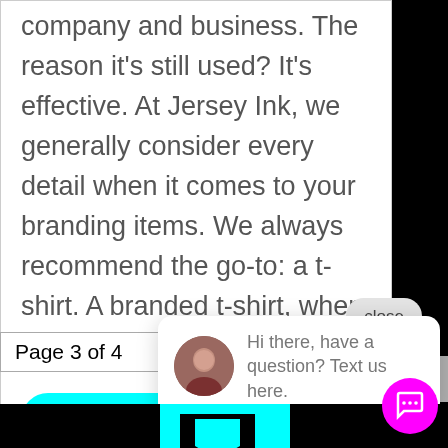company and business. The reason it's still used? It's effective. At Jersey Ink, we generally consider every detail when it comes to your branding items. We always recommend the go-to: a t-shirt. A branded t-shirt, when done...
READ MORE
close
Page 3 of 4
[Figure (screenshot): Chat popup with female avatar and text: Hi there, have a question? Text us here.]
[Figure (logo): Cyan and black geometric logo shape with arrow/letter form at bottom of page]
[Figure (other): Magenta circular chat button with speech bubble icon]